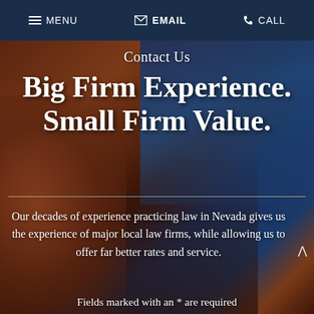≡ MENU   ✉ EMAIL   ✆ CALL
Contact Us
Big Firm Experience. Small Firm Value.
Our decades of experience practicing law in Nevada gives us the experience of major local law firms, while allowing us to offer far better rates and service.
Fields marked with an * are required
Name *